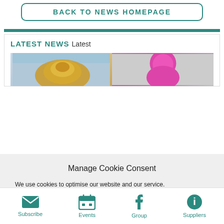BACK TO NEWS HOMEPAGE
LATEST NEWS Latest
[Figure (photo): Two news article thumbnail images side by side: left shows a golden decorative object against blue sky, right shows a person wearing a bright pink/magenta hijab]
Manage Cookie Consent
We use cookies to optimise our website and our service.
ACCEPT COOKIES
DENY
VIEW PREFERENCES
Subscribe  Events  Group  Suppliers